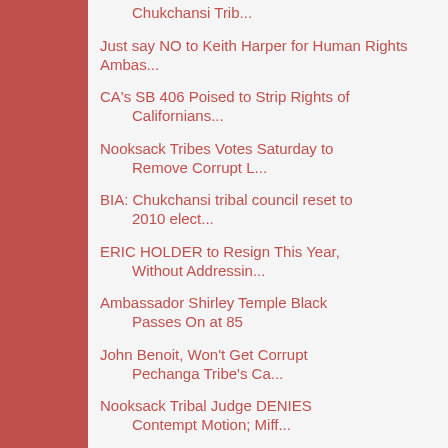Chukchansi Trib...
Just say NO to Keith Harper for Human Rights Ambas...
CA's SB 406 Poised to Strip Rights of Californians...
Nooksack Tribes Votes Saturday to Remove Corrupt L...
BIA: Chukchansi tribal council reset to 2010 elect...
ERIC HOLDER to Resign This Year, Without Addressin...
Ambassador Shirley Temple Black Passes On at 85
John Benoit, Won't Get Corrupt Pechanga Tribe's Ca...
Nooksack Tribal Judge DENIES Contempt Motion; Miff...
Pala Tribe Tresspasses on Private P...